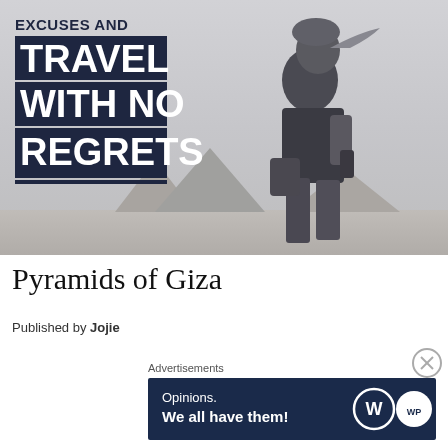[Figure (photo): Black and white photo of a traveler standing in front of the Pyramids of Giza, with bold text overlay reading 'EXCUSES AND TRAVEL WITH NO REGRETS']
Pyramids of Giza
Published by Jojie
Advertisements
[Figure (other): Advertisement banner with dark blue background reading 'Opinions. We all have them!' with WordPress and another logo on the right]